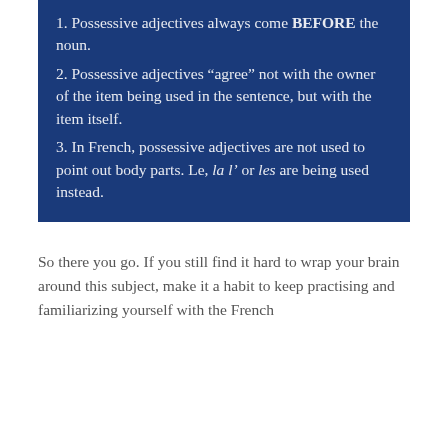1. Possessive adjectives always come BEFORE the noun.
2. Possessive adjectives “agree” not with the owner of the item being used in the sentence, but with the item itself.
3. In French, possessive adjectives are not used to point out body parts. Le, la l’ or les are being used instead.
So there you go. If you still find it hard to wrap your brain around this subject, make it a habit to keep practising and familiarizing yourself with the French